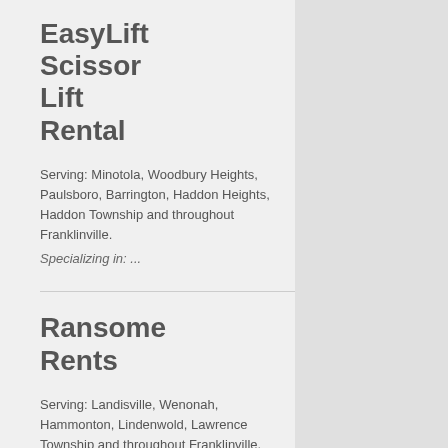EasyLift Scissor Lift Rental
Serving: Minotola, Woodbury Heights, Paulsboro, Barrington, Haddon Heights, Haddon Township and throughout Franklinville.
Specializing in: ...
Ransome Rents
Serving: Landisville, Wenonah, Hammonton, Lindenwold, Lawrence Township and throughout Franklinville.
Specializing in: ...